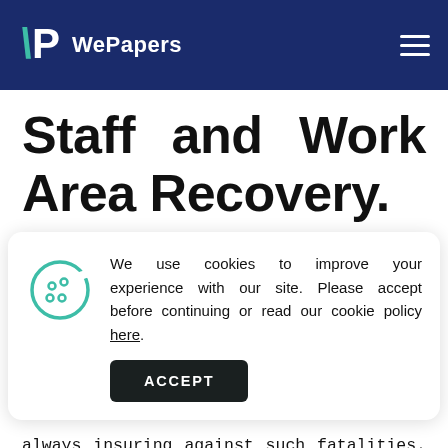WePapers
Staff and Work Area Recovery.
We use cookies to improve your experience with our site. Please accept before continuing or read our cookie policy here.
always insuring against such fatalities. In this case, most affected businesses in the attack. Incidentally, the attack occurred during a weekend, hence there was less casualties in the busy financial district (Kelly